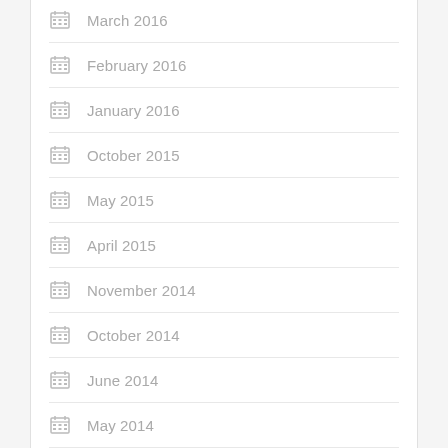March 2016
February 2016
January 2016
October 2015
May 2015
April 2015
November 2014
October 2014
June 2014
May 2014
April 2014
March 2014